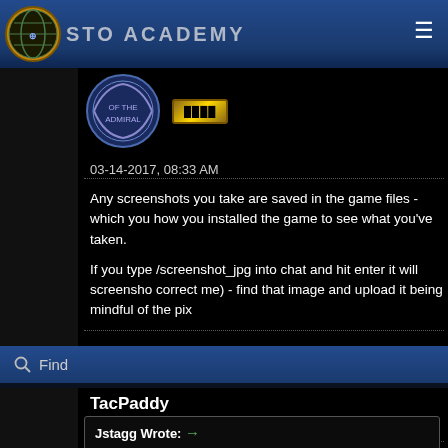STO ACADEMY
[Figure (screenshot): Forum post with admiral badge and rank insignia]
03-14-2017, 08:33 AM
Any screenshots you take are saved in the game files - which you how you installed the game to see what you've taken.
If you type /screenshot_jpg into chat and hit enter it will screensho correct me) - find that image and upload it being mindful of the pix
Find
TacPaddy
Unregistered
03-14-2017, 09:36 AM
Jstagg Wrote: